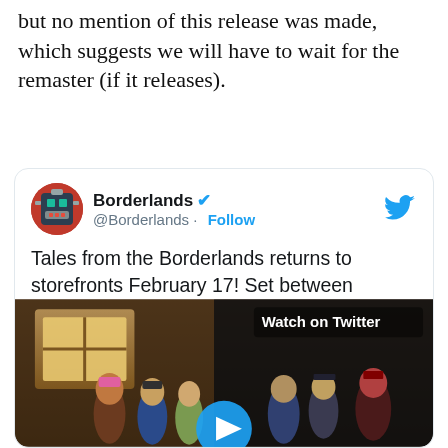but no mention of this release was made, which suggests we will have to wait for the remaster (if it releases).
[Figure (screenshot): Embedded tweet from @Borderlands account with verified badge showing a tweet about Tales from the Borderlands returning to storefronts February 17, with a video thumbnail showing game characters and a 'Watch on Twitter' label.]